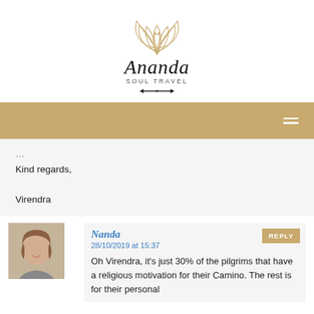[Figure (logo): Ananda Soul Travel logo with lotus flower SVG, cursive 'Ananda' text, 'Soul Travel' subtitle, and arrow decoration]
[Figure (other): Gold/tan navigation bar with hamburger menu icon on right]
Kind regards,

Virendra
[Figure (photo): Avatar photo of a woman with short blonde/brown hair, smiling]
Nanda
28/10/2019 at 15:37
Oh Virendra, it's just 30% of the pilgrims that have a religious motivation for their Camino. The rest is for their personal...